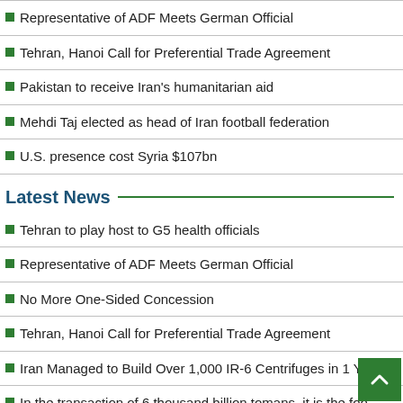Representative of ADF Meets German Official
Tehran, Hanoi Call for Preferential Trade Agreement
Pakistan to receive Iran's humanitarian aid
Mehdi Taj elected as head of Iran football federation
U.S. presence cost Syria $107bn
Latest News
Tehran to play host to G5 health officials
Representative of ADF Meets German Official
No More One-Sided Concession
Tehran, Hanoi Call for Preferential Trade Agreement
Iran Managed to Build Over 1,000 IR-6 Centrifuges in 1 Year
In the transaction of 6 thousand billion tomans, it is the foo... of the Iranian trader